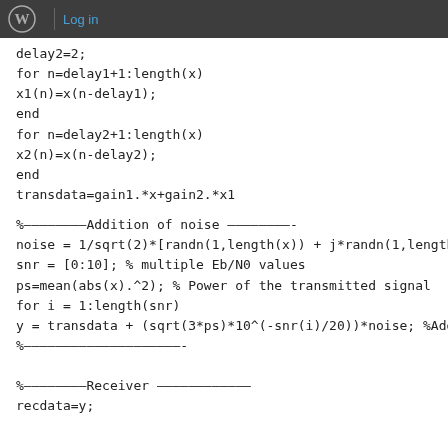Log in
delay2=2;
for n=delay1+1:length(x)
x1(n)=x(n-delay1);
end
for n=delay2+1:length(x)
x2(n)=x(n-delay2);
end
transdata=gain1.*x+gain2.*x1

%————————Addition of noise ————————-
noise = 1/sqrt(2)*[randn(1,length(x)) + j*randn(1,length(x))]; % Noise
snr = [0:10]; % multiple Eb/N0 values
ps=mean(abs(x).^2); % Power of the transmitted signal
for i = 1:length(snr)
y = transdata + (sqrt(3*ps)*10^(-snr(i)/20))*noise; %Addition of Noise
%————————————————————-

%————————Receiver ————————————
recdata=y;